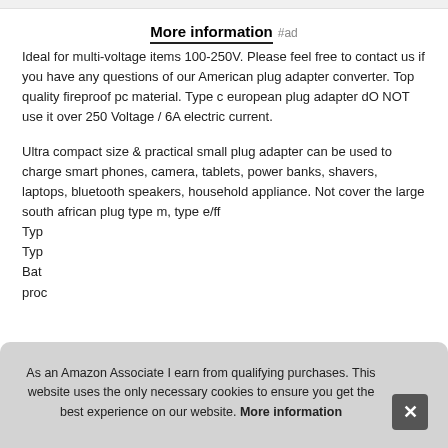More information #ad
Ideal for multi-voltage items 100-250V. Please feel free to contact us if you have any questions of our American plug adapter converter. Top quality fireproof pc material. Type c european plug adapter dO NOT use it over 250 Voltage / 6A electric current.
Ultra compact size & practical small plug adapter can be used to charge smart phones, camera, tablets, power banks, shavers, laptops, bluetooth speakers, household appliance. Not cover the large south african plug type m, type e/ff... Type... Type... Bath... proc...
As an Amazon Associate I earn from qualifying purchases. This website uses the only necessary cookies to ensure you get the best experience on our website. More information